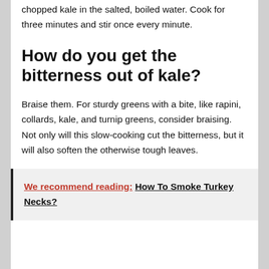chopped kale in the salted, boiled water. Cook for three minutes and stir once every minute.
How do you get the bitterness out of kale?
Braise them. For sturdy greens with a bite, like rapini, collards, kale, and turnip greens, consider braising. Not only will this slow-cooking cut the bitterness, but it will also soften the otherwise tough leaves.
We recommend reading:  How To Smoke Turkey Necks?